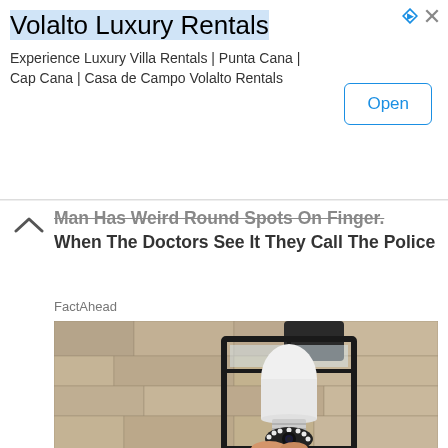Volalto Luxury Rentals
Experience Luxury Villa Rentals | Punta Cana | Cap Cana | Casa de Campo Volalto Rentals
Open
Man Has Weird Round Spots On Finger. When The Doctors See It They Call The Police
FactAhead
[Figure (photo): A camera-equipped light bulb installed inside a black outdoor wall lantern fixture mounted on a stone/stucco wall. The bulb has a visible camera lens ring with LED lights at the bottom. A hand is partially visible holding or installing the device.]